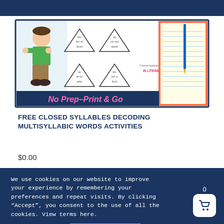[Figure (screenshot): Product image showing closed syllables decoding multisyllabic words activities with cartoon boy, triangle word puzzles, and notebook paper. Text reads 'No Prep-Print & Go' in pink. Conversations in Literacy branding visible.]
FREE CLOSED SYLLABLES DECODING MULTISYLLABIC WORDS ACTIVITIES
$0.00
We use cookies on our website to improve your experience by remembering your preferences and repeat visits. By clicking “Accept”, you consent to the use of all the cookies. View terms here.
Cookie settings
ACCEPT & Close